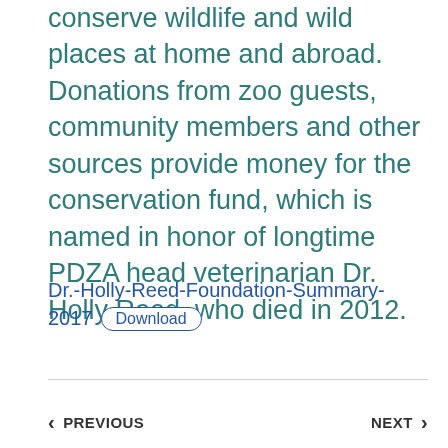conserve wildlife and wild places at home and abroad. Donations from zoo guests, community members and other sources provide money for the conservation fund, which is named in honor of longtime PDZA head veterinarian Dr. Holly Reed, who died in 2012.
Dr.-Holly-Reed-Foundation-Summary-2017  Download
< PREVIOUS    NEXT >